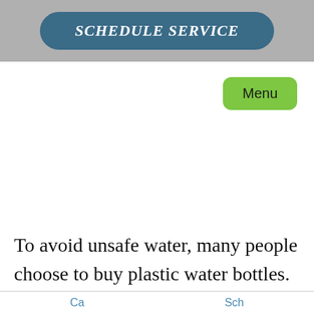SCHEDULE SERVICE
[Figure (other): Green rounded rectangle button labeled 'Menu']
To avoid unsafe water, many people choose to buy plastic water bottles. Though plastic water bottles give you healthier water to drink, they are terrible for the environment. You and your family will go through immense amounts of plastic. Last